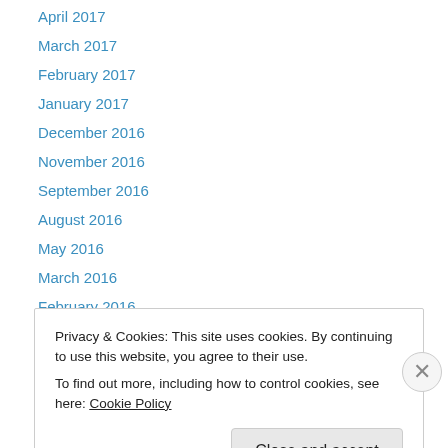April 2017
March 2017
February 2017
January 2017
December 2016
November 2016
September 2016
August 2016
May 2016
March 2016
February 2016
January 2016
November 2015
Privacy & Cookies: This site uses cookies. By continuing to use this website, you agree to their use. To find out more, including how to control cookies, see here: Cookie Policy
Close and accept